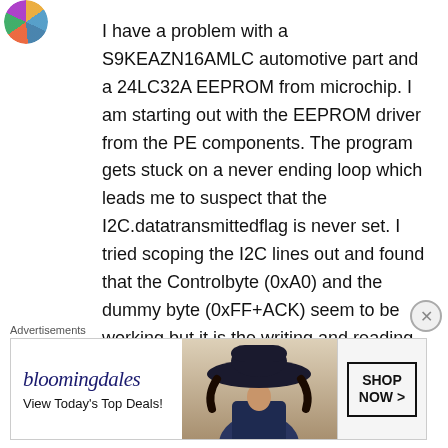[Figure (photo): User avatar icon - circular colorful globe/wheel icon]
I have a problem with a S9KEAZN16AMLC automotive part and a 24LC32A EEPROM from microchip. I am starting out with the EEPROM driver from the PE components. The program gets stuck on a never ending loop which leads me to suspect that the I2C.datatransittedflag is never set. I tried scoping the I2C lines out and found that the Controlbyte (0xA0) and the dummy byte (0xFF+ACK) seem to be working but it is the writing and reading that seems to be in error. The primask registers is read to be 0x00. I looked at the registers tab in the debug
Advertisements
[Figure (screenshot): Bloomingdales advertisement banner with logo, tagline 'View Today's Top Deals!' and a woman wearing a large hat, with a 'SHOP NOW >' button]